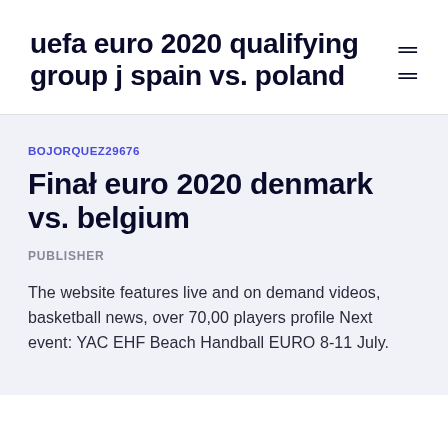uefa euro 2020 qualifying group j spain vs. poland
BOJORQUEZ29676
Finał euro 2020 denmark vs. belgium
PUBLISHER
The website features live and on demand videos, basketball news, over 70,00 players profile Next event: YAC EHF Beach Handball EURO 8-11 July.